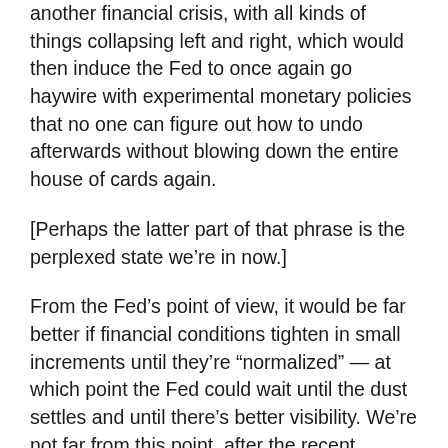another financial crisis, with all kinds of things collapsing left and right, which would then induce the Fed to once again go haywire with experimental monetary policies that no one can figure out how to undo afterwards without blowing down the entire house of cards again.
[Perhaps the latter part of that phrase is the perplexed state we’re in now.]
From the Fed’s point of view, it would be far better if financial conditions tighten in small increments until they’re “normalized” — at which point the Fed could wait until the dust settles and until there’s better visibility. We’re not far from this point, after the recent market gyrations.
The problem that the markets have – and why they’re in such a tizzy – is that investors have been pampered and saddled for so long by central bank policies that “normal”